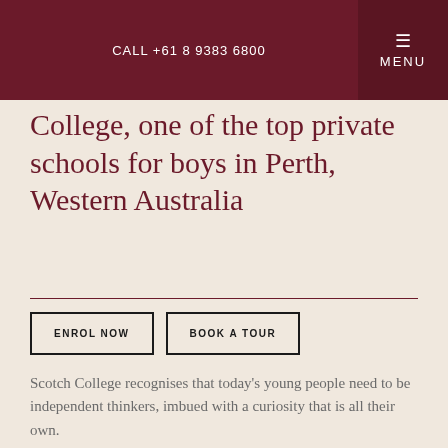CALL +61 8 9383 6800
College, one of the top private schools for boys in Perth, Western Australia
ENROL NOW   BOOK A TOUR
Scotch College recognises that today's young people need to be independent thinkers, imbued with a curiosity that is all their own.